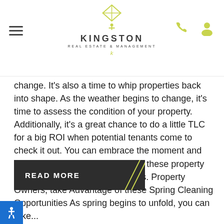Kingston Real Estate & Management
change. It's also a time to whip properties back into shape. As the weather begins to change, it's time to assess the condition of your property. Additionally, it's a great chance to do a little TLC for a big ROI when potential tenants come to check it out. You can embrace the moment and reduce your future workload with these property management spring cleaning tips. Property Owners, take Advantage of these Spring Cleaning Opportunities As spring begins to unfold, you can take...
READ MORE